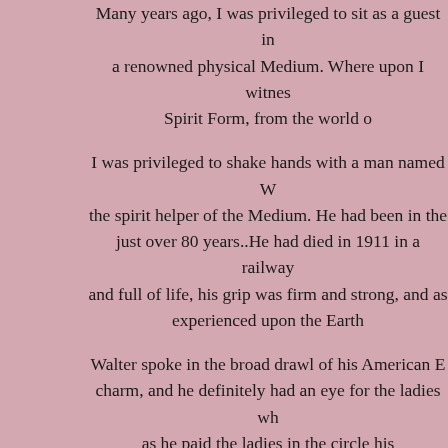Many years ago, I was privileged to sit as a guest in a renowned physical Medium. Where upon I witnessed Spirit Form, from the world o...
I was privileged to shake hands with a man named W... the spirit helper of the Medium. He had been in the just over 80 years..He had died in 1911 in a railway and full of life, his grip was firm and strong, and as experienced upon the Earth
Walter spoke in the broad drawl of his American E... charm, and he definitely had an eye for the ladies wh as he paid the ladies in the circle his...
I had sat in various circles of physical phenomena wi from spirit hands being formed from ectoplasm, to h gent's voice as he projected his voice box into ectop shaped device to enable him to speak directly to his been my experiences as a Spiritual Medium. As well to deliver messages from the Spirit world to enable help see them through their earth
And now I have come full circle, and for several yea Development/Awareness circle, helping to bring out many of us, helping those who wish to develop these reach out to the Spirit world that many upon our Ear...